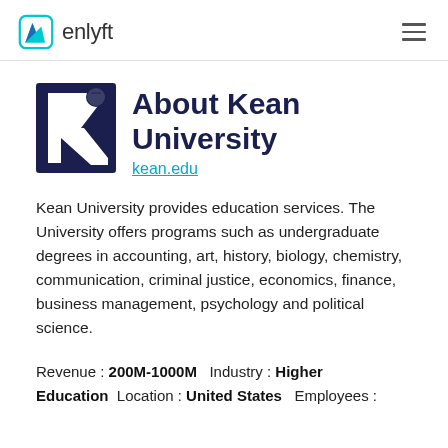enlyft
About Kean University
kean.edu
Kean University provides education services. The University offers programs such as undergraduate degrees in accounting, art, history, biology, chemistry, communication, criminal justice, economics, finance, business management, psychology and political science.
Revenue : 200M-1000M   Industry : Higher Education   Location : United States   Employees :